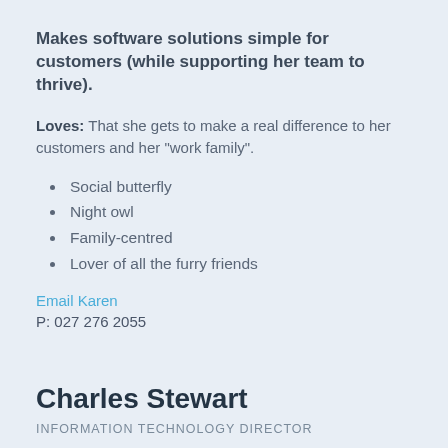Makes software solutions simple for customers (while supporting her team to thrive).
Loves: That she gets to make a real difference to her customers and her “work family”.
Social butterfly
Night owl
Family-centred
Lover of all the furry friends
Email Karen
P: 027 276 2055
Charles Stewart
INFORMATION TECHNOLOGY DIRECTOR